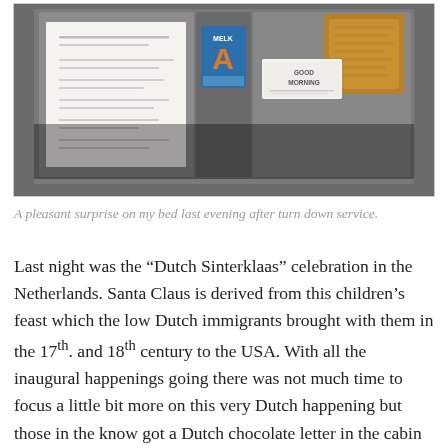[Figure (photo): A photo of a hotel bed turndown service showing a gray folder/portfolio open with items inside: a menu card on the left, a 'MELK A' chocolate letter card in the center, and a 'GOOD MORNING' card on the right with what appears to be a food item.]
A pleasant surprise on my bed last evening after turn down service.
Last night was the "Dutch Sinterklaas" celebration in the Netherlands. Santa Claus is derived from this children's feast which the low Dutch immigrants brought with them in the 17th. and 18th century to the USA. With all the inaugural happenings going there was not much time to focus a little bit more on this very Dutch happening but those in the know got a Dutch chocolate letter in the cabin in the shape of the first letter of the first name. This instead of the much more bright